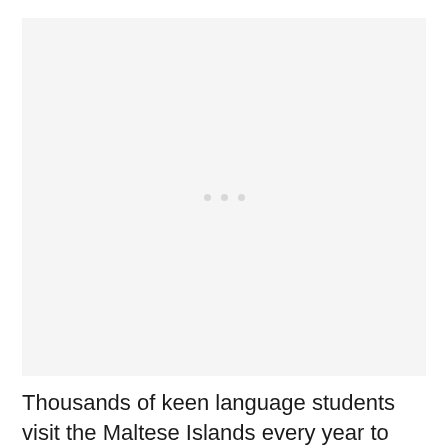[Figure (photo): Placeholder image area with three light grey dots centered, indicating a loading or missing image]
Thousands of keen language students visit the Maltese Islands every year to improve